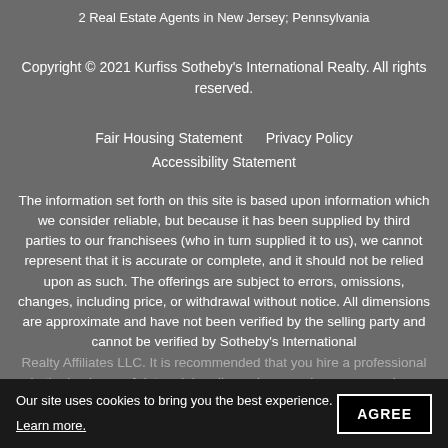2 Real Estate Agents in New Jersey; Pennsylvania
Copyright © 2021 Kurfiss Sotheby's International Realty. All rights reserved.
Fair Housing Statement    Privacy Policy    Accessibility Statement
The information set forth on this site is based upon information which we consider reliable, but because it has been supplied by third parties to our franchisees (who in turn supplied it to us), we cannot represent that it is accurate or complete, and it should not be relied upon as such. The offerings are subject to errors, omissions, changes, including price, or withdrawal without notice. All dimensions are approximate and have not been verified by the selling party and cannot be verified by Sotheby's International Realty Affiliates LLC. It is recommended that you hire a professional in the business of determining dimensions, such as an appraiser, architect or civil engineer, to determine such information. Kurfiss Sotheby's International Realty is a real estate brokerage licensed in Pennsylvania and New Jersey.
Our site uses cookies to bring you the best experience.
Learn more.
AGREE